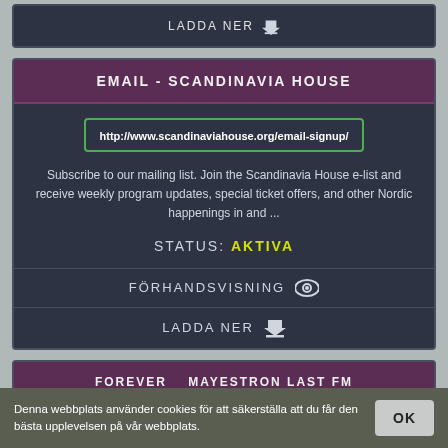LADDA NER
EMAIL - SCANDINAVIA HOUSE
http://www.scandinaviahouse.org/email-signup/
Subscribe to our mailing list. Join the Scandinavia House e-list and receive weekly program updates, special ticket offers, and other Nordic happenings in and ...
STATUS: AKTIVA
FÖRHANDSVISNING
LADDA NER
FOREVER MAYESTRON LAST FM
Denna webbplats använder cookies för att säkerställa att du får den bästa upplevelsen på vår webbplats.